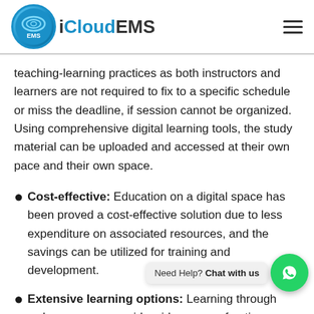iCloudEMS
teaching-learning practices as both instructors and learners are not required to fix to a specific schedule or miss the deadline, if session cannot be organized. Using comprehensive digital learning tools, the study material can be uploaded and accessed at their own pace and their own space.
Cost-effective: Education on a digital space has been proved a cost-effective solution due to less expenditure on associated resources, and the savings can be utilized for training and development.
Extensive learning options: Learning through web space can provide wider range of options regarding courses and learning avenues for both teachers and